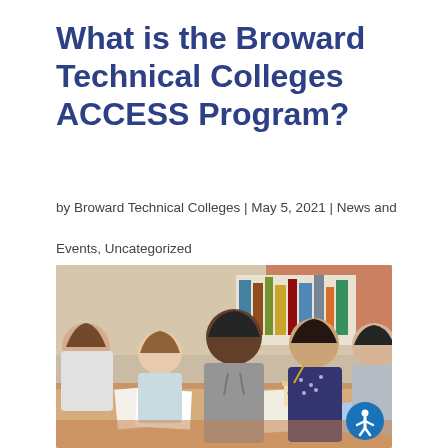What is the Broward Technical Colleges ACCESS Program?
by Broward Technical Colleges | May 5, 2021 | News and Events, Uncategorized
[Figure (photo): A group of diverse college students sitting around a table, smiling and talking, with papers and a coffee cup on the table and bookshelves in the background.]